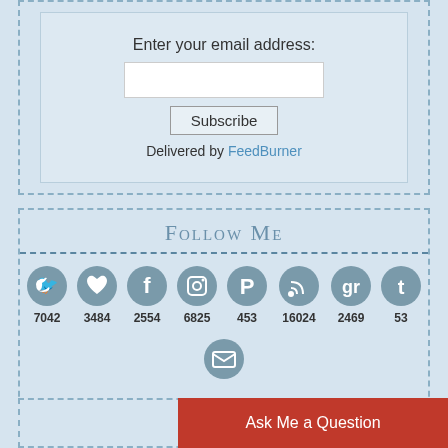Enter your email address:
Subscribe
Delivered by FeedBurner
Follow Me
[Figure (infographic): Social media icons row with follower counts: Twitter 7042, heart/Bloglovin 3484, Facebook 2554, Instagram 6825, Pinterest 453, RSS 16024, Goodreads 2469, Tumblr 53, and an email icon below]
Insta
Ask Me a Question